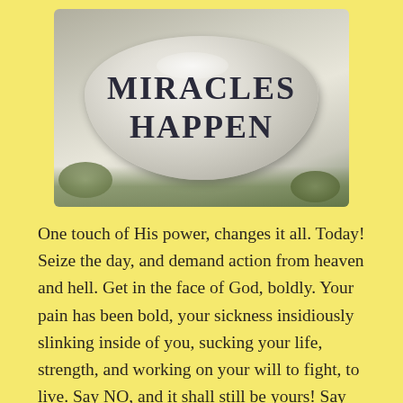[Figure (photo): A smooth oval stone with the words 'MIRACLES HAPPEN' engraved in dark serif capital letters, resting on a bed of leaves and grass.]
One touch of His power, changes it all. Today! Seize the day, and demand action from heaven and hell. Get in the face of God, boldly. Your pain has been bold, your sickness insidiously slinking inside of you, sucking your life, strength, and working on your will to fight, to live. Say NO, and it shall still be yours! Say...